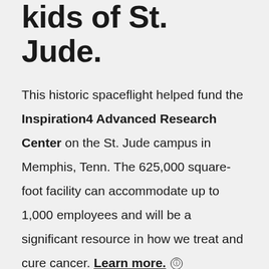kids of St. Jude.
This historic spaceflight helped fund the Inspiration4 Advanced Research Center on the St. Jude campus in Memphis, Tenn. The 625,000 square-foot facility can accommodate up to 1,000 employees and will be a significant resource in how we treat and cure cancer. Learn more.
Inspiration4 showed the